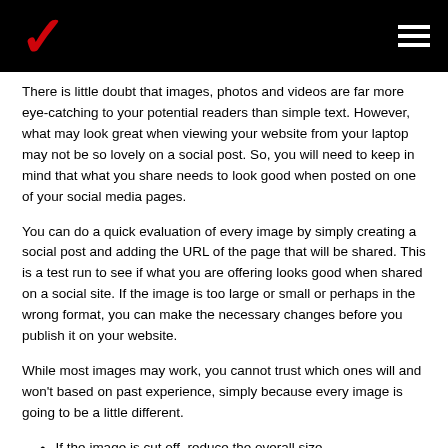Verizon logo and navigation menu
There is little doubt that images, photos and videos are far more eye-catching to your potential readers than simple text. However, what may look great when viewing your website from your laptop may not be so lovely on a social post. So, you will need to keep in mind that what you share needs to look good when posted on one of your social media pages.
You can do a quick evaluation of every image by simply creating a social post and adding the URL of the page that will be shared. This is a test run to see if what you are offering looks good when shared on a social site. If the image is too large or small or perhaps in the wrong format, you can make the necessary changes before you publish it on your website.
While most images may work, you cannot trust which ones will and won't based on past experience, simply because every image is going to be a little different.
If the image is cut off, reduce the overall size
When in doubt, use square images as they look the best on most